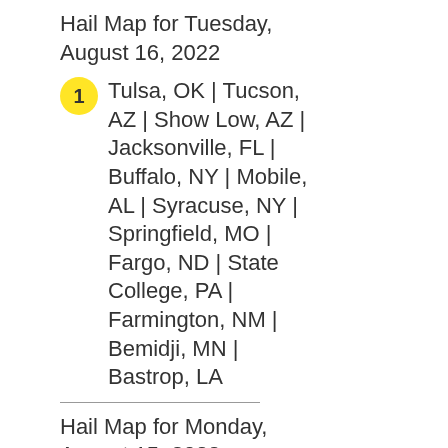Hail Map for Tuesday, August 16, 2022
1  Tulsa, OK | Tucson, AZ | Show Low, AZ | Jacksonville, FL | Buffalo, NY | Mobile, AL | Syracuse, NY | Springfield, MO | Fargo, ND | State College, PA | Farmington, NM | Bemidji, MN | Bastrop, LA
Hail Map for Monday, August 15, 2022
1  Roseau, MN | Charlotte, NC | Denver, CO |